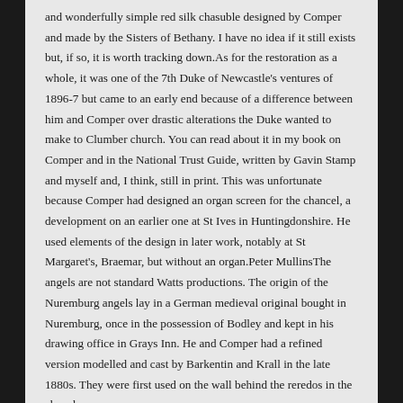and wonderfully simple red silk chasuble designed by Comper and made by the Sisters of Bethany. I have no idea if it still exists but, if so, it is worth tracking down.As for the restoration as a whole, it was one of the 7th Duke of Newcastle's ventures of 1896-7 but came to an early end because of a difference between him and Comper over drastic alterations the Duke wanted to make to Clumber church. You can read about it in my book on Comper and in the National Trust Guide, written by Gavin Stamp and myself and, I think, still in print. This was unfortunate because Comper had designed an organ screen for the chancel, a development on an earlier one at St Ives in Huntingdonshire. He used elements of the design in later work, notably at St Margaret's, Braemar, but without an organ.Peter MullinsThe angels are not standard Watts productions. The origin of the Nuremburg angels lay in a German medieval original bought in Nuremburg, once in the possession of Bodley and kept in his drawing office in Grays Inn. He and Comper had a refined version modelled and cast by Barkentin and Krall in the late 1880s. They were first used on the wall behind the reredos in the chapel